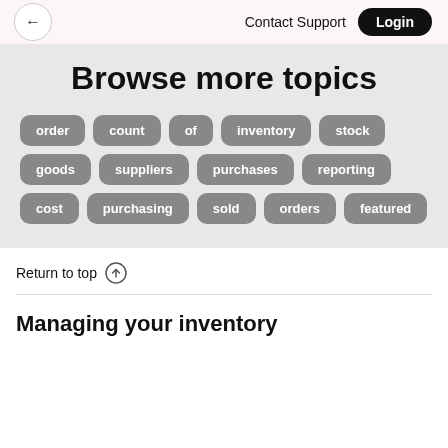Contact Support  Login
Browse more topics
order
count
of
inventory
stock
goods
suppliers
purchases
reporting
cost
purchasing
sold
orders
featured
Return to top
Managing your inventory